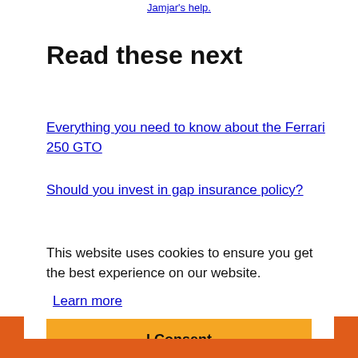Jamjar's help.
Read these next
Everything you need to know about the Ferrari 250 GTO
Should you invest in gap insurance policy?
This website uses cookies to ensure you get the best experience on our website.
Learn more
I Consent